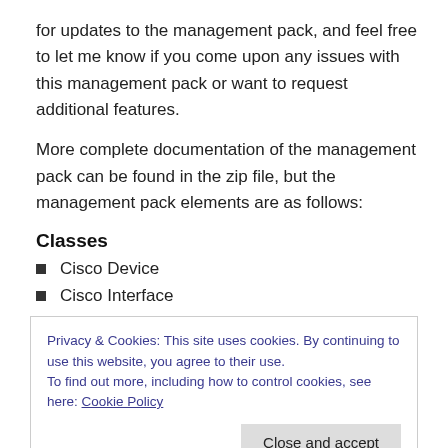for updates to the management pack, and feel free to let me know if you come upon any issues with this management pack or want to request additional features.
More complete documentation of the management pack can be found in the zip file, but the management pack elements are as follows:
Classes
Cisco Device
Cisco Interface
Privacy & Cookies: This site uses cookies. By continuing to use this website, you agree to their use.
To find out more, including how to control cookies, see here: Cookie Policy
Groups